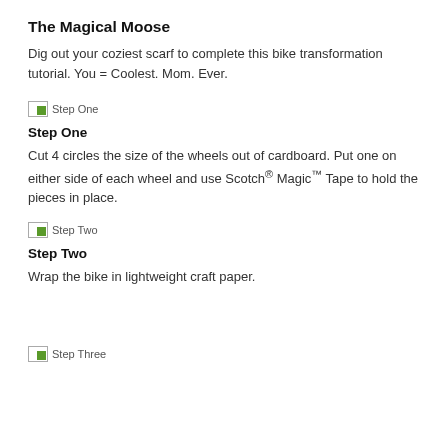The Magical Moose
Dig out your coziest scarf to complete this bike transformation tutorial. You = Coolest. Mom. Ever.
[Figure (illustration): Step One thumbnail image icon]
Step One
Cut 4 circles the size of the wheels out of cardboard. Put one on either side of each wheel and use Scotch® Magic™ Tape to hold the pieces in place.
[Figure (illustration): Step Two thumbnail image icon]
Step Two
Wrap the bike in lightweight craft paper.
[Figure (illustration): Step Three thumbnail image icon]